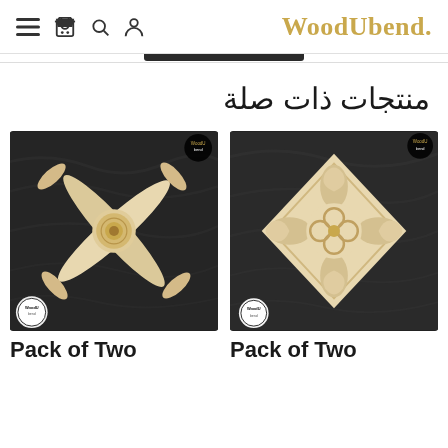WoodUbend
منتجات ذات صلة
[Figure (photo): Decorative wooden applique corner piece with feather/leaf motif and central sunflower rosette, cream/beige color on dark textured background, with WoodUbend brand badges]
[Figure (photo): Decorative wooden applique diamond-shaped piece with scrolling acanthus leaf motif, cream/beige color on dark textured background, with WoodUbend brand badges]
Pack of Two
Pack of Two